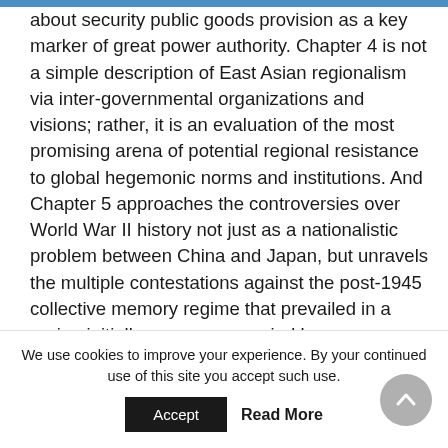about security public goods provision as a key marker of great power authority. Chapter 4 is not a simple description of East Asian regionalism via inter-governmental organizations and visions; rather, it is an evaluation of the most promising arena of potential regional resistance to global hegemonic norms and institutions. And Chapter 5 approaches the controversies over World War II history not just as a nationalistic problem between China and Japan, but unravels the multiple contestations against the post-1945 collective memory regime that prevailed in a region initially more preoccupied by concerns
We use cookies to improve your experience. By your continued use of this site you accept such use.
Accept   Read More